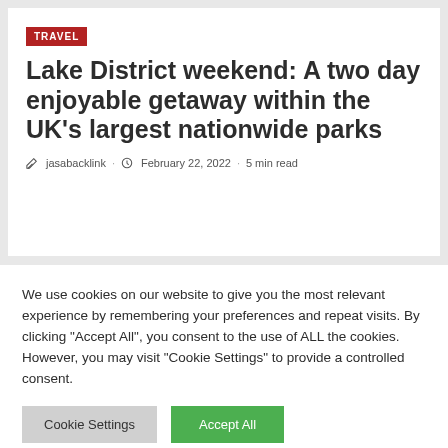TRAVEL
Lake District weekend: A two day enjoyable getaway within the UK's largest nationwide parks
jasabacklink · February 22, 2022 · 5 min read
We use cookies on our website to give you the most relevant experience by remembering your preferences and repeat visits. By clicking "Accept All", you consent to the use of ALL the cookies. However, you may visit "Cookie Settings" to provide a controlled consent.